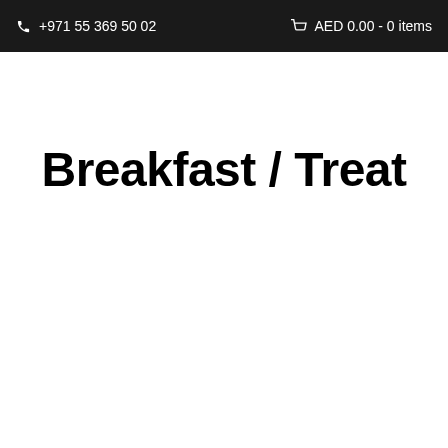☎ +971 55 369 50 02   🛒 AED 0.00 - 0 items
Breakfast / Treat